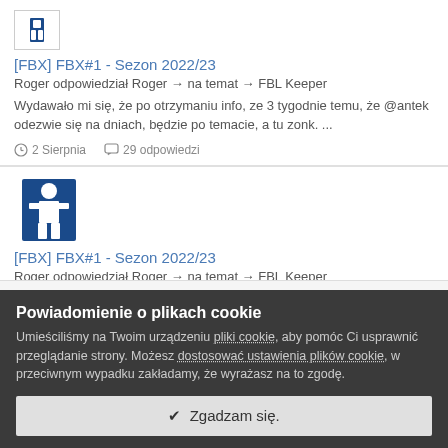[Figure (logo): Small FBL Keeper app icon logo - blue and white figure icon]
[FBX] FBX#1 - Sezon 2022/23
Roger odpowiedział Roger → na temat → FBL Keeper
Wydawało mi się, że po otrzymaniu info, ze 3 tygodnie temu, że @antek odezwie się na dniach, będzie po temacie, a tu zonk. ...
2 Sierpnia   29 odpowiedzi
[Figure (logo): FBL Keeper app icon logo - blue and white figure icon, larger version]
[FBX] FBX#1 - Sezon 2022/23
Roger odpowiedział Roger → na temat → FBL Keeper
Powiadomienie o plikach cookie
Umieściliśmy na Twoim urządzeniu pliki cookie, aby pomóc Ci usprawnić przeglądanie strony. Możesz dostosować ustawienia plików cookie, w przeciwnym wypadku zakładamy, że wyrażasz na to zgodę.
✔  Zgadzam się.